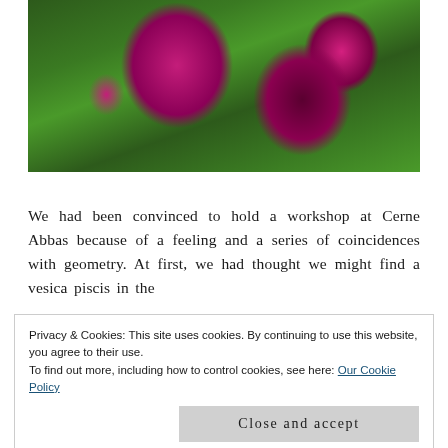[Figure (photo): A photo of purple/magenta roses with dark green foliage in the background, taken in a garden setting.]
We had been convinced to hold a workshop at Cerne Abbas because of a feeling and a series of coincidences with geometry. At first, we had thought we might find a vesica piscis in the
Privacy & Cookies: This site uses cookies. By continuing to use this website, you agree to their use.
To find out more, including how to control cookies, see here: Our Cookie Policy
Close and accept